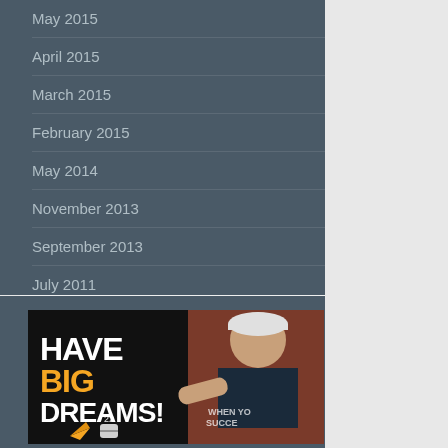May 2015
April 2015
March 2015
February 2015
May 2014
November 2013
September 2013
July 2011
[Figure (photo): Motivational banner image with text 'HAVE BIG DREAMS!' in bold white and orange letters, with a smiling man wearing a white cap pointing at the viewer, on a dark background with a paper airplane icon and other graphics.]